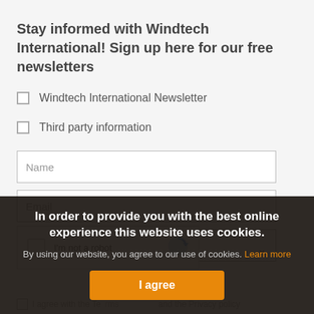Stay informed with Windtech International! Sign up here for our free newsletters
Windtech International Newsletter
Third party information
Name
Email
USA
I'm not a robot
I agree with the Terms ... and the Privacy policy
In order to provide you with the best online experience this website uses cookies.
By using our website, you agree to our use of cookies. Learn more
I agree